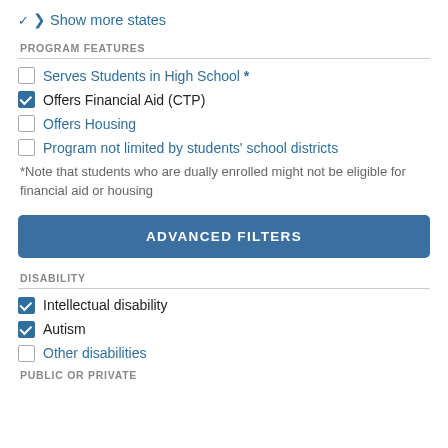Show more states
PROGRAM FEATURES
☐ Serves Students in High School *
☑ Offers Financial Aid (CTP)
☐ Offers Housing
☐ Program not limited by students' school districts
*Note that students who are dually enrolled might not be eligible for financial aid or housing
ADVANCED FILTERS
DISABILITY
☑ Intellectual disability
☑ Autism
☐ Other disabilities
PUBLIC OR PRIVATE